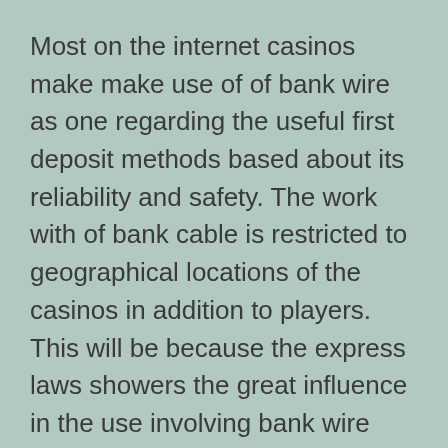Most on the internet casinos make make use of of bank wire as one regarding the useful first deposit methods based about its reliability and safety. The work with of bank cable is restricted to geographical locations of the casinos in addition to players. This will be because the express laws showers the great influence in the use involving bank wire throughout casino online wagering.
In some elements of the United States, players might find the banks refusing to be able to offer